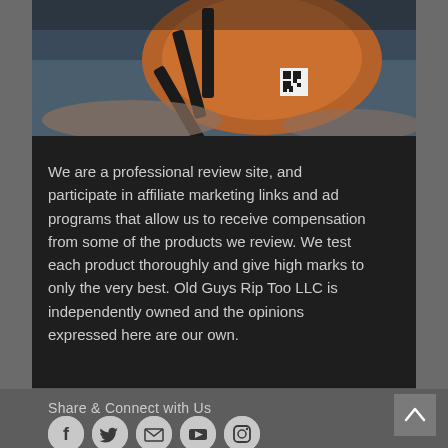[Figure (photo): Partial view of a colorful mechanical/electronic device (appears to be 3D printer or similar machine) with orange and black parts, held by hands, against a blue background. A QR code sticker is visible.]
We are a professional review site, and participate in affiliate marketing links and ad programs that allow us to receive compensation from some of the products we review. We test each product thoroughly and give high marks to only the very best. Old Guys Rip Too LLC is independently owned and the opinions expressed here are our own.
Share & Connect with Us
[Figure (infographic): Row of five circular social media icon buttons: Facebook, Twitter, Email/Envelope, YouTube, Instagram]